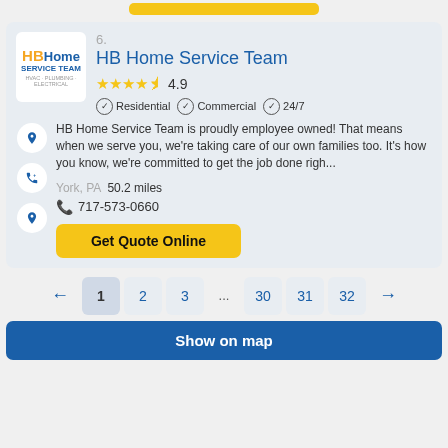[Figure (screenshot): Top strip with yellow button partially visible at top of page]
HB Home Service Team
6.
4.9 stars rating — Residential, Commercial, 24/7
HB Home Service Team is proudly employee owned! That means when we serve you, we're taking care of our own families too. It's how you know, we're committed to get the job done righ...
York, PA  50.2 miles
717-573-0660
Get Quote Online
1 2 3 ... 30 31 32
Show on map